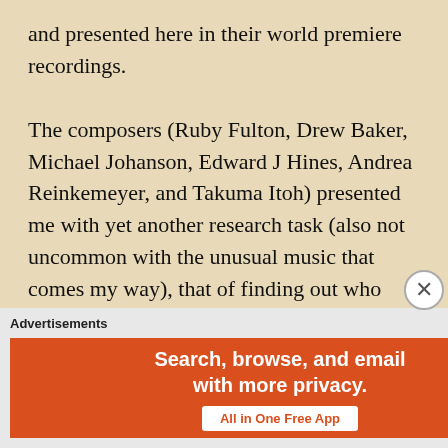and presented here in their world premiere recordings.

The composers (Ruby Fulton, Drew Baker, Michael Johanson, Edward J Hines, Andrea Reinkemeyer, and Takuma Itoh) presented me with yet another research task (also not uncommon with the unusual music that comes my way), that of finding out who these people are and, frankly, if I should file these names away in my future successes file, keep them on the radar in the hopes that they will continue to produce work of this quality. I'd say odds are good.
Advertisements
[Figure (other): DuckDuckGo advertisement banner. Left side: red-orange background with white bold text 'Search, browse, and email with more privacy.' and a white button reading 'All in One Free App'. Right side: dark background with DuckDuckGo logo and name.]